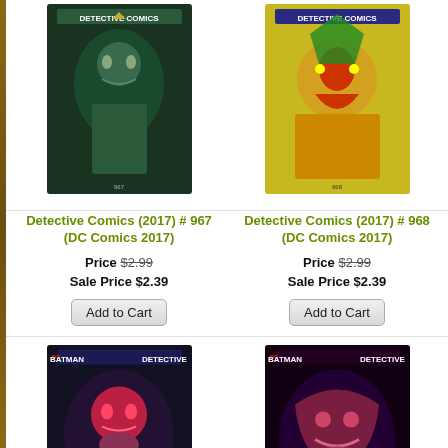[Figure (illustration): Comic book cover for Detective Comics (2017) #967 showing Batman-related character with dark green background]
Detective Comics (2017) # 967 (DC Comics 2017)
Price $2.99
Sale Price $2.39
Add to Cart
[Figure (illustration): Comic book cover for Detective Comics (2017) #968 showing Robin character on yellow/green background]
Detective Comics (2017) # 968 (DC Comics 2017)
Price $2.99
Sale Price $2.39
Add to Cart
[Figure (illustration): Partial comic book cover (third column, cropped) for Detective Comics]
Detective (DC
Sale
[Figure (illustration): Comic book cover for Detective Comics (2017) #970 showing Batman Detective Comics with red creature]
Detective Comics (2017) # 970 (DC Comics 2017)
Price $2.99
Sale Price $2.39
Add to Cart
[Figure (illustration): Comic book cover for Detective Comics (2017) #971 showing Batman Detective Comics with dark purple/red creature]
Detective Comics (2017) # 971 (DC Comics 2017)
Price $2.99
Sale Price $2.39
Add to Cart
[Figure (illustration): Partial comic book cover (third column, cropped) for Detective Comics]
Detective (DC
Sale